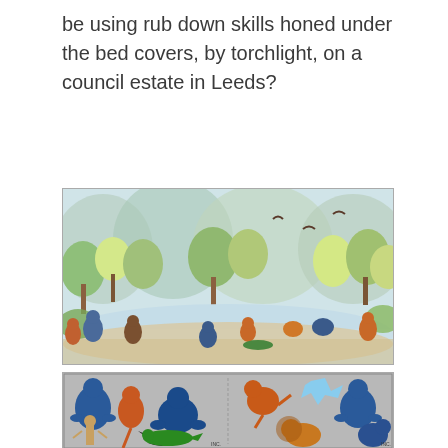be using rub down skills honed under the bed covers, by torchlight, on a council estate in Leeds?
[Figure (illustration): Colorful illustrated jungle scene with various animals and humanoid figures including apes, cats, and other creatures in a lush tropical landscape with trees and water.]
[Figure (illustration): Rub-down transfer sticker sheet on grey background showing comic-style animal and humanoid figures in blue, orange, green and red colors including gorillas, lions, crocodiles and human figures. Text 'INC.' visible in bottom right area.]